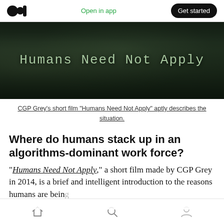Open in app | Get started
[Figure (photo): Dark crowd photo with white monospace text overlay reading 'Humans Need Not Apply']
CGP Grey’s short film “Humans Need Not Apply” aptly describes the situation.
Where do humans stack up in an algorithms-dominant work force?
“Humans Need Not Apply,” a short film made by CGP Grey in 2014, is a brief and intelligent introduction to the reasons humans are being...